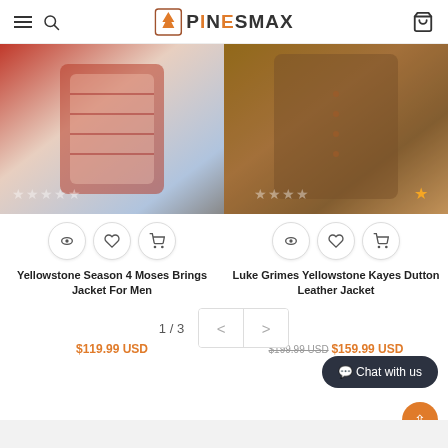PinesMaX - navigation header with hamburger, search, logo, and cart
[Figure (photo): Product image of Yellowstone Season 4 Moses Brings Jacket For Men - a patterned red/white bomber jacket]
[Figure (photo): Product image of Luke Grimes Yellowstone Kayes Dutton Leather Jacket - a brown suede/leather jacket]
Yellowstone Season 4 Moses Brings Jacket For Men
$119.99 USD
Luke Grimes Yellowstone Kayes Dutton Leather Jacket
$199.99 USD $159.99 USD
1 / 3
Chat with us